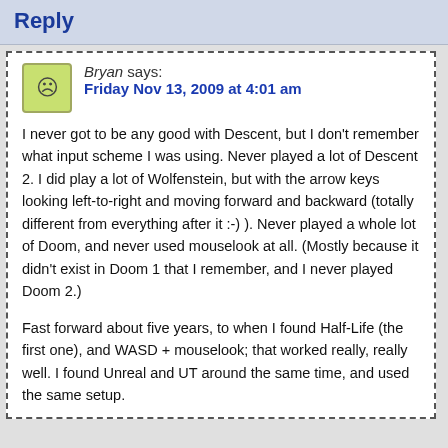Reply
Bryan says: Friday Nov 13, 2009 at 4:01 am
I never got to be any good with Descent, but I don't remember what input scheme I was using. Never played a lot of Descent 2. I did play a lot of Wolfenstein, but with the arrow keys looking left-to-right and moving forward and backward (totally different from everything after it :-) ). Never played a whole lot of Doom, and never used mouselook at all. (Mostly because it didn't exist in Doom 1 that I remember, and I never played Doom 2.)
Fast forward about five years, to when I found Half-Life (the first one), and WASD + mouselook; that worked really, really well. I found Unreal and UT around the same time, and used the same setup.